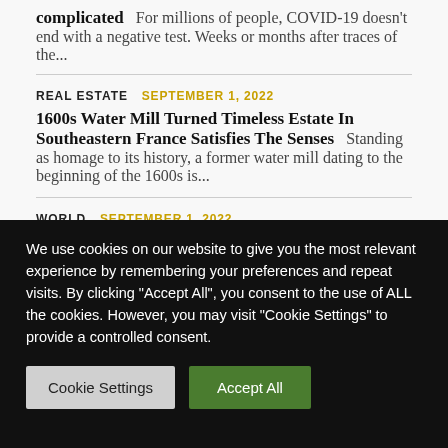complicated  For millions of people, COVID-19 doesn't end with a negative test. Weeks or months after traces of the...
REAL ESTATE   SEPTEMBER 1, 2022
1600s Water Mill Turned Timeless Estate In Southeastern France Satisfies The Senses
Standing as homage to its history, a former water mill dating to the beginning of the 1600s is...
WORLD   SEPTEMBER 1, 2022
We use cookies on our website to give you the most relevant experience by remembering your preferences and repeat visits. By clicking "Accept All", you consent to the use of ALL the cookies. However, you may visit "Cookie Settings" to provide a controlled consent.
Cookie Settings
Accept All